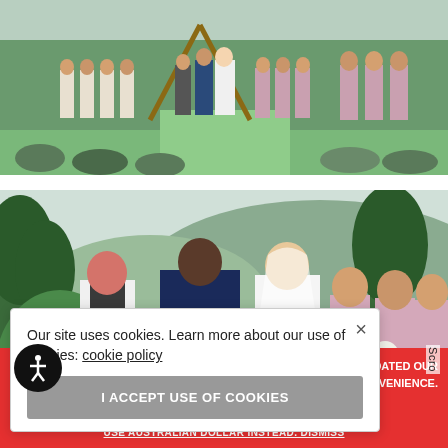[Figure (photo): Outdoor wedding ceremony with bride and groom under a triangular arch, wedding party and guests visible, trees and grass in background]
[Figure (photo): Close-up of outdoor wedding ceremony with officiant, groom, and bride exchanging vows, bridesmaids in pink dresses in background, pine trees and mountains visible]
Our site uses cookies. Learn more about our use of cookies: cookie policy
I ACCEPT USE OF COOKIES
WE'VE UPDATED OUR
ING CONVENIENCE.
USE AUSTRALIAN DOLLAR INSTEAD. DISMISS